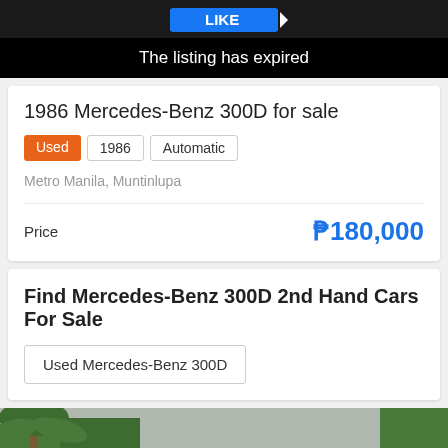[Figure (photo): Top banner area with dark background and blue LIKE button element visible]
The listing has expired
1986 Mercedes-Benz 300D for sale
Used | 1986 | Automatic
Metro Manila, Muntinlupa
Price  ₱180,000
Find Mercedes-Benz 300D 2nd Hand Cars For Sale
Used Mercedes-Benz 300D
[Figure (photo): Photograph of a white 1986 Mercedes-Benz 300D parked in outdoor area with palm trees and another white vehicle visible]